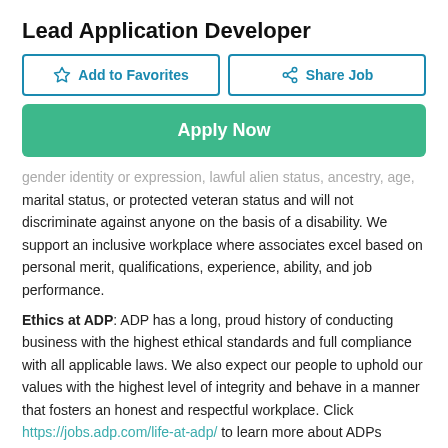Lead Application Developer
Add to Favorites | Share Job | Apply Now
gender identity or expression, lawful alien status, ancestry, age, marital status, or protected veteran status and will not discriminate against anyone on the basis of a disability. We support an inclusive workplace where associates excel based on personal merit, qualifications, experience, ability, and job performance.
Ethics at ADP: ADP has a long, proud history of conducting business with the highest ethical standards and full compliance with all applicable laws. We also expect our people to uphold our values with the highest level of integrity and behave in a manner that fosters an honest and respectful workplace. Click https://jobs.adp.com/life-at-adp/ to learn more about ADPs culture and our full set of values.